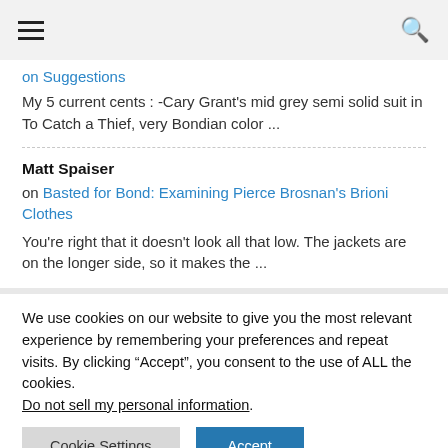[hamburger menu] [search icon]
on Suggestions
My 5 current cents : -Cary Grant's mid grey semi solid suit in To Catch a Thief, very Bondian color ...
Matt Spaiser
on Basted for Bond: Examining Pierce Brosnan's Brioni Clothes
You're right that it doesn't look all that low. The jackets are on the longer side, so it makes the ...
We use cookies on our website to give you the most relevant experience by remembering your preferences and repeat visits. By clicking “Accept”, you consent to the use of ALL the cookies. Do not sell my personal information.
Cookie Settings
Accept